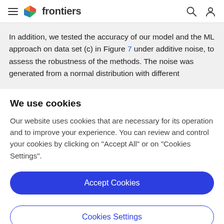frontiers
In addition, we tested the accuracy of our model and the ML approach on data set (c) in Figure 7 under additive noise, to assess the robustness of the methods. The noise was generated from a normal distribution with different
We use cookies
Our website uses cookies that are necessary for its operation and to improve your experience. You can review and control your cookies by clicking on "Accept All" or on "Cookies Settings".
Accept Cookies
Cookies Settings